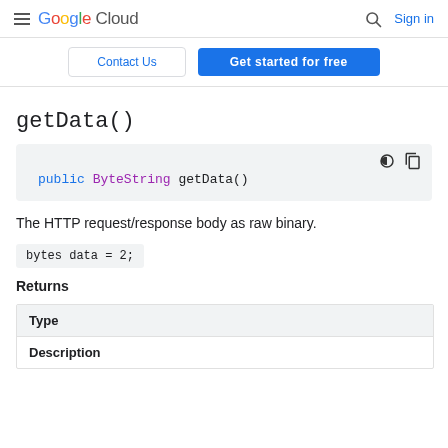Google Cloud | Sign in
Contact Us | Get started for free
getData()
[Figure (screenshot): Code block showing: public ByteString getData()]
The HTTP request/response body as raw binary.
Returns
| Type |
| --- |
| Description |